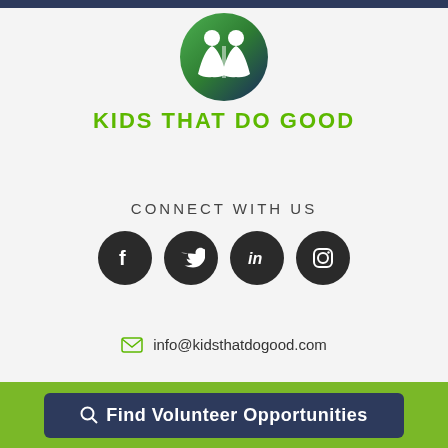[Figure (logo): Kids That Do Good logo: circular green/navy gradient icon with two white silhouette figures, above green bold uppercase text 'KIDS THAT DO GOOD']
CONNECT WITH US
[Figure (infographic): Four dark circular social media icons in a row: Facebook (f), Twitter (bird), LinkedIn (in), Instagram (camera outline)]
info@kidsthatdogood.com
Kids That Do Good is a 501c3. Tax ID# 45-
Find Volunteer Opportunities